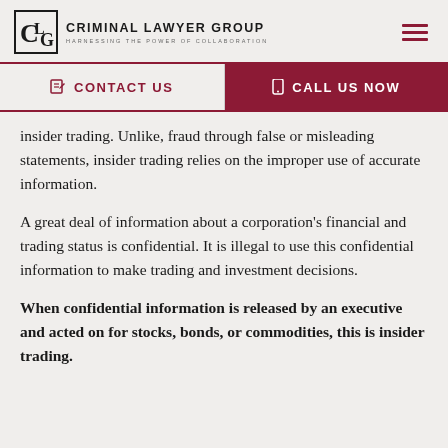Criminal Lawyer Group — Harnessing the Power of Collaboration
CONTACT US
CALL US NOW
insider trading. Unlike, fraud through false or misleading statements, insider trading relies on the improper use of accurate information.
A great deal of information about a corporation's financial and trading status is confidential. It is illegal to use this confidential information to make trading and investment decisions.
When confidential information is released by an executive and acted on for stocks, bonds, or commodities, this is insider trading.